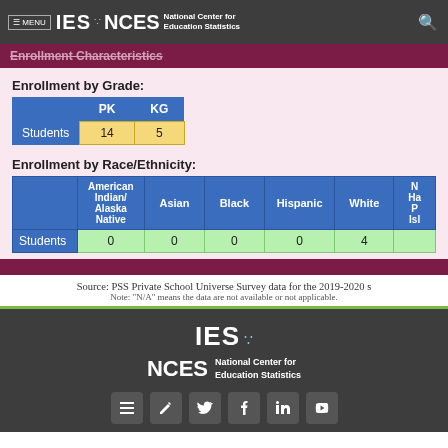MENU IES NCES National Center for Education Statistics
Enrollment Characteristics
Enrollment by Grade:
|  | PK | KG |
| --- | --- | --- |
| Students | 14 | 5 |
Enrollment by Race/Ethnicity:
|  | American Indian/ Alaska Native | Asian | Black | Hispanic | White | N Ha P Isl |
| --- | --- | --- | --- | --- | --- | --- |
| Students | 0 | 0 | 0 | 0 | 4 |  |
Source: PSS Private School Universe Survey data for the 2019-2020 s
Note: "N/A" means the data are not available or not applicable.
IES NCES National Center for Education Statistics